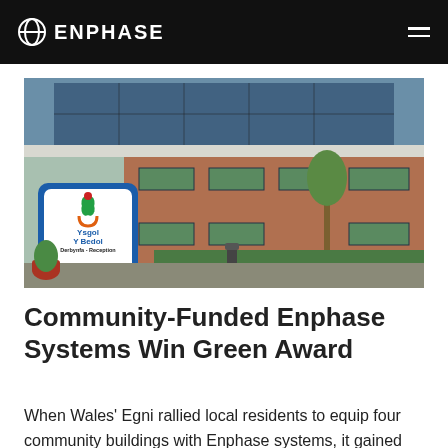ENPHASE
[Figure (photo): Exterior photo of Ysgol Y Bedol school building with solar panels on the roof and a blue sign in the foreground reading 'Ysgol Y Bedol Derbynfa - Reception']
Community-Funded Enphase Systems Win Green Award
When Wales' Egni rallied local residents to equip four community buildings with Enphase systems, it gained more